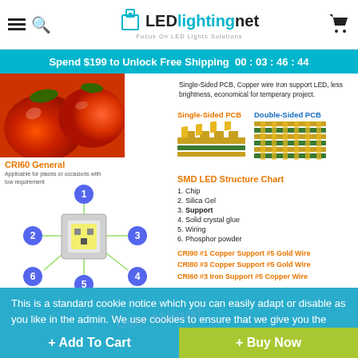LEDlightingnet - Focus On LED Lights Solutions
Spend $199 to Unlock Free Shipping  00 : 03 : 46 : 44
[Figure (photo): Red tomatoes close-up photo]
CRI60 General
Applicable for places or occasions with low requirement
Single-Sided PCB, Copper wire Iron support LED, less brightness, economical for temperary project.
[Figure (illustration): Single-Sided PCB diagram showing layered PCB cross-section in gold/yellow]
[Figure (illustration): Double-Sided PCB diagram showing thicker layered PCB cross-section]
[Figure (schematic): SMD LED Structure Chart diagram with 6 numbered blue circle labels pointing to LED chip components]
SMD LED Structure Chart
1. Chip
2. Silica Gel
3. Support
4. Solid crystal glue
5. Wiring
6. Phosphor powder
CRI90 #1 Copper Support #5 Gold Wire
CRI80 #3 Copper Support #5 Gold Wire
CRI60 #3 Iron Support #5 Copper Wire
This is a standard cookie notice which you can easily adapt or disable as you like in the admin. We use cookies to ensure that we give you the best experience on our website.
Privacy Policy    Accept
User Manual
+ Add To Cart
+ Buy Now